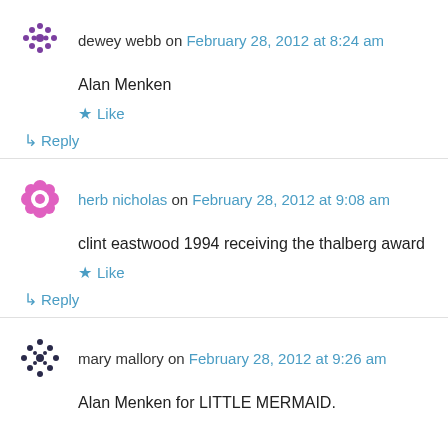dewey webb on February 28, 2012 at 8:24 am
Alan Menken
★ Like
↳ Reply
herb nicholas on February 28, 2012 at 9:08 am
clint eastwood 1994 receiving the thalberg award
★ Like
↳ Reply
mary mallory on February 28, 2012 at 9:26 am
Alan Menken for LITTLE MERMAID.